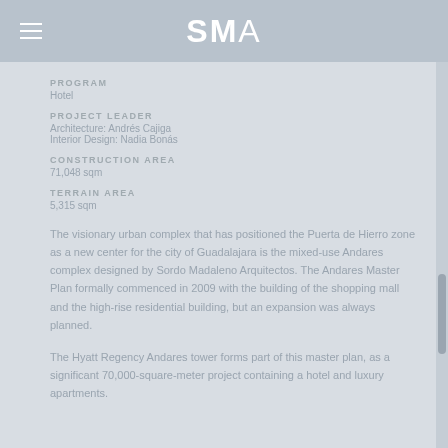SMA
PROGRAM
Hotel
PROJECT LEADER
Architecture: Andrés Cajiga
Interior Design: Nadia Bonás
CONSTRUCTION AREA
71,048 sqm
TERRAIN AREA
5,315 sqm
The visionary urban complex that has positioned the Puerta de Hierro zone as a new center for the city of Guadalajara is the mixed-use Andares complex designed by Sordo Madaleno Arquitectos. The Andares Master Plan formally commenced in 2009 with the building of the shopping mall and the high-rise residential building, but an expansion was always planned.
The Hyatt Regency Andares tower forms part of this master plan, as a significant 70,000-square-meter project containing a hotel and luxury apartments.